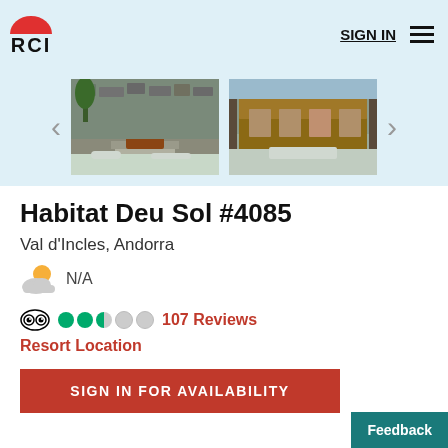[Figure (logo): RCI logo with red semicircle and bold RCI text]
SIGN IN
[Figure (photo): Two resort building photos showing stone exterior and snowy ground]
Habitat Deu Sol #4085
Val d'Incles, Andorra
N/A
107 Reviews
Resort Location
SIGN IN FOR AVAILABILITY
Feedback